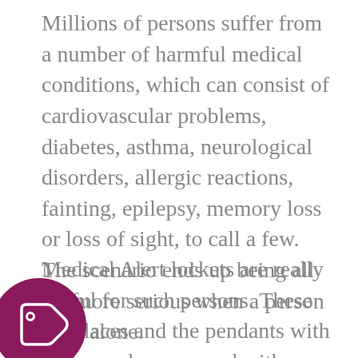Millions of persons suffer from a number of harmful medical conditions, which can consist of cardiovascular problems, diabetes, asthma, neurological disorders, allergic reactions, fainting, epilepsy, memory loss or loss of sight, to call a few. The scenario ends up being all the more serious when a person lives alone.
Medical Alert lockets are really useful for such persons. These necklaces and the pendants with them can be engraved with quick but important medical bio data and the ID of the client– for instance, his/her name, phone number, name of physician and a short description of the illness. They can be made in beautiful designs in steel, sterling silver or gold.
[Figure (illustration): A dark magenta/purple circle with a white price tag / label icon in the center]